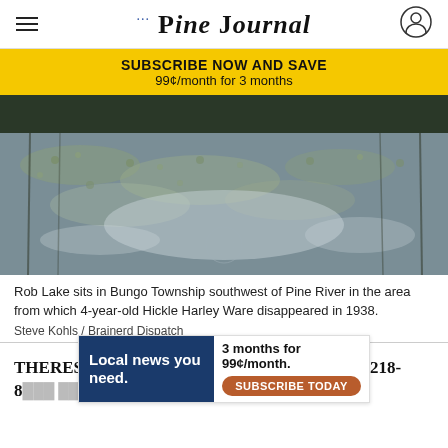PINE JOURNAL
SUBSCRIBE NOW AND SAVE
99¢/month for 3 months
[Figure (photo): Rob Lake in Bungo Township — reflective water surface with lily pads and dark treeline reflection]
Rob Lake sits in Bungo Township southwest of Pine River in the area from which 4-year-old Hickle Harley Ware disappeared in 1938.
Steve Kohls / Brainerd Dispatch
THERESA BOURKE may be reached at there... 218-8...
Local news you need.  3 months for 99¢/month.  SUBSCRIBE TODAY